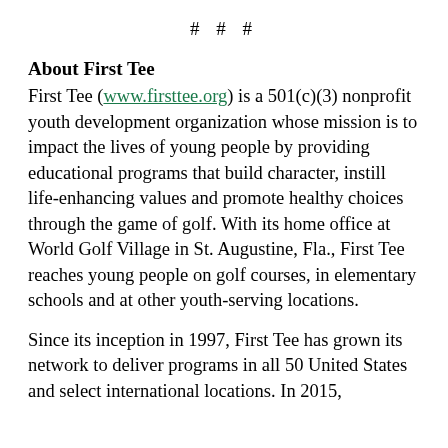# # #
About First Tee
First Tee (www.firsttee.org) is a 501(c)(3) nonprofit youth development organization whose mission is to impact the lives of young people by providing educational programs that build character, instill life-enhancing values and promote healthy choices through the game of golf. With its home office at World Golf Village in St. Augustine, Fla., First Tee reaches young people on golf courses, in elementary schools and at other youth-serving locations.
Since its inception in 1997, First Tee has grown its network to deliver programs in all 50 United States and select international locations. In 2015,